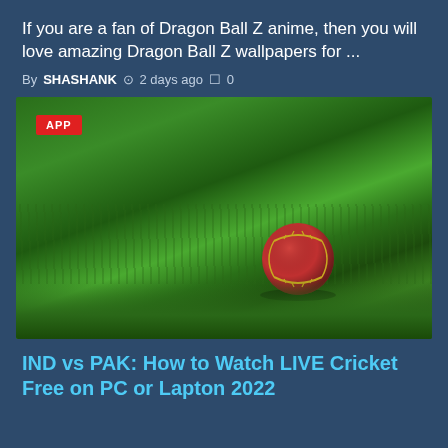If you are a fan of Dragon Ball Z anime, then you will love amazing Dragon Ball Z wallpapers for ...
By SHASHANK  2 days ago  0
[Figure (photo): A red cricket ball resting on green grass, photographed close-up with a blurred green background. Red badge labeled 'APP' in top-left corner.]
IND vs PAK: How to Watch LIVE Cricket Free on PC or Lapton 2022